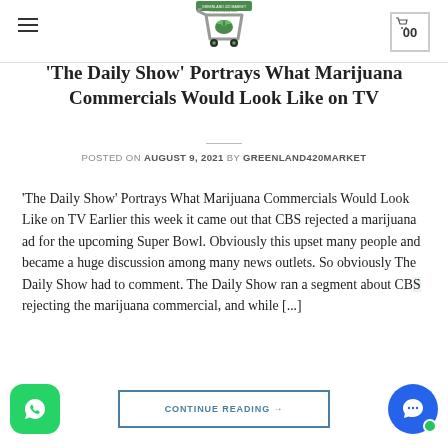Greenland420Market website header with hamburger menu, logo (shopping cart with cannabis leaf), and cart icon showing 0
'The Daily Show' Portrays What Marijuana Commercials Would Look Like on TV
POSTED ON AUGUST 9, 2021 BY GREENLAND420MARKET
'The Daily Show' Portrays What Marijuana Commercials Would Look Like on TV Earlier this week it came out that CBS rejected a marijuana ad for the upcoming Super Bowl. Obviously this upset many people and became a huge discussion among many news outlets. So obviously The Daily Show had to comment. The Daily Show ran a segment about CB[S rejec]ting the marijuana commercial, and while [...]
CONTINUE READING →